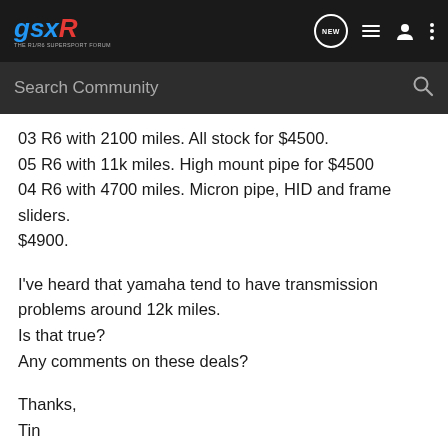GSXR — THE R1/R6 SUPERSPORT FORUM — NEW — [icons]
Search Community
03 R6 with 2100 miles. All stock for $4500.
05 R6 with 11k miles. High mount pipe for $4500
04 R6 with 4700 miles. Micron pipe, HID and frame sliders. $4900.

I've heard that yamaha tend to have transmission problems around 12k miles.
Is that true?
Any comments on these deals?

Thanks,
Tin